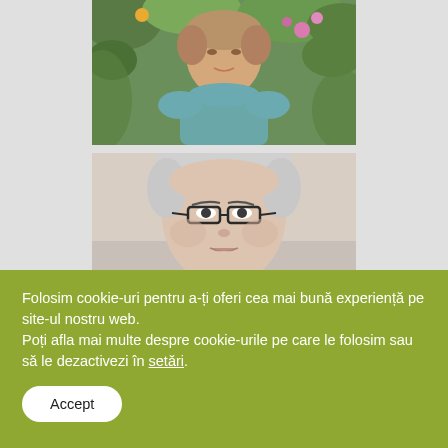[Figure (photo): Photo of a middle-aged woman outdoors in a garden setting, wearing a blue/teal top, surrounded by greenery and flowers]
[Figure (photo): Close-up portrait photo of an older woman with short white/grey hair and dark-rimmed glasses, neutral background]
[Figure (photo): Partial landscape photo strip showing trees and dark outdoor scenery]
Folosim cookie-uri pentru a-ți oferi cea mai bună experiență pe site-ul nostru web.
Poți afla mai multe despre cookie-urile pe care le folosim sau să le dezactivezi în setări.
Accept